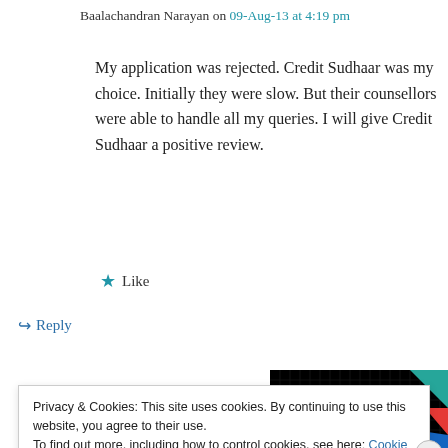Baalachandran Narayan on 09-Aug-13 at 4:19 pm
My application was rejected. Credit Sudhaar was my choice. Initially they were slow. But their counsellors were able to handle all my queries. I will give Credit Sudhaar a positive review.
★ Like
↪ Reply
[Figure (photo): Advertisement image with black background, yellow text '99% INVISIBLE', teal, red, and blue geometric shapes]
Privacy & Cookies: This site uses cookies. By continuing to use this website, you agree to their use.
To find out more, including how to control cookies, see here: Cookie Policy
Close and accept